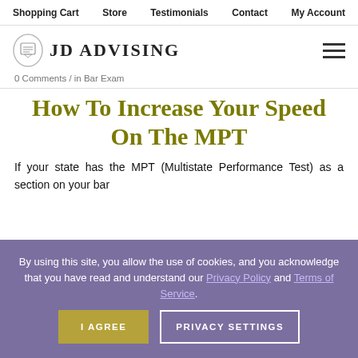Shopping Cart   Store   Testimonials   Contact   My Account
[Figure (logo): JD Advising logo with diploma icon and text JD ADVISING]
0 Comments / in Bar Exam
How To Increase Your Speed On The MPT
If your state has the MPT (Multistate Performance Test) as a section on your bar
By using this site, you allow the use of cookies, and you acknowledge that you have read and understand our Privacy Policy and Terms of Service.
I AGREE   PRIVACY SETTINGS